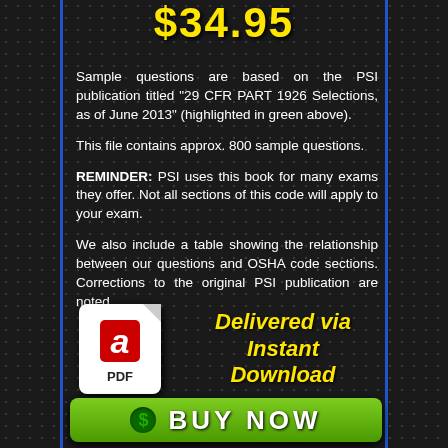$34.95
Sample questions are based on the PSI publication titled “29 CFR PART 1926 Selections, as of June 2013” (highlighted in green above).
This file contains approx. 800 sample questions.
REMINDER: PSI uses this book for many exams they offer. Not all sections of this code will apply to your exam.
We also include a table showing the relationship between our questions and OSHA code sections. Corrections to the original PSI publication are noted.
[Figure (illustration): PDF file icon with Adobe Acrobat logo in red, white background with folded corner, labeled PDF]
Delivered via Instant Download
BUY NOW